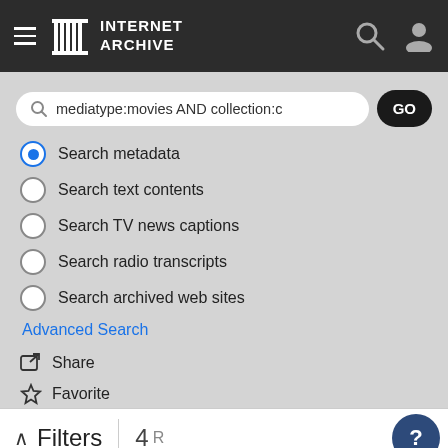Internet Archive
[Figure (screenshot): Internet Archive website search interface with search bar containing 'mediatype:movies AND collection:c', radio buttons for search type, Advanced Search link, Share, Favorite, and play button actions]
mediatype:movies AND collection:c
Search metadata (selected)
Search text contents
Search TV news captions
Search radio transcripts
Search archived web sites
Advanced Search
Share
Favorite
Filters  4